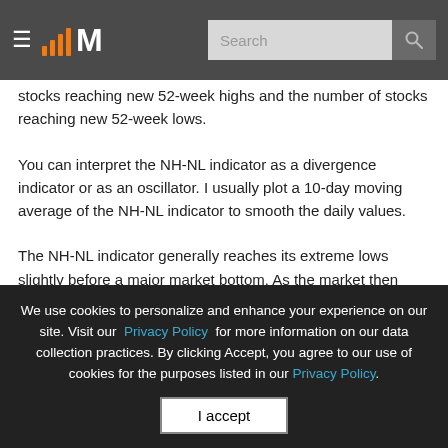MarketSmith header with logo and search bar
stocks reaching new 52-week highs and the number of stocks reaching new 52-week lows.
You can interpret the NH-NL indicator as a divergence indicator or as an oscillator. I usually plot a 10-day moving average of the NH-NL indicator to smooth the daily values.
The NH-NL indicator generally reaches its extreme lows slightly before a major market bottom. As the market then turns up from the major bottom, the [indicator then generally rises...]
We use cookies to personalize and enhance your experience on our site. Visit our Privacy Policy for more information on our data collection practices. By clicking Accept, you agree to our use of cookies for the purposes listed in our Privacy Policy.

I accept